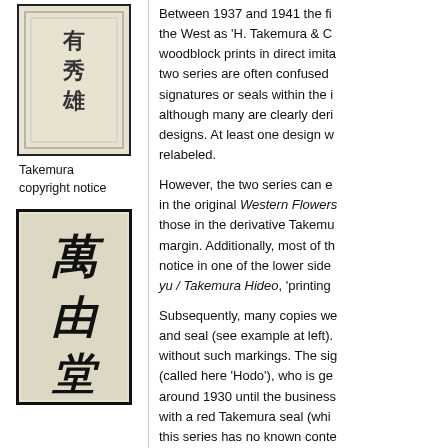[Figure (photo): Photograph of a Takemura copyright notice, showing Japanese calligraphy characters in a framed rectangular image with a beige/cream background]
Takemura copyright notice
[Figure (photo): Photograph of a Takemura signature/seal showing bold Japanese calligraphy characters in black ink on a cream/beige background, framed with a thick black border]
Between 1937 and 1941 the fi... the West as 'H. Takemura & C... woodblock prints in direct imita... two series are often confused ... signatures or seals within the i... although many are clearly deri... designs. At least one design w... relabeled.
However, the two series can e... in the original Western Flowers... those in the derivative Takemu... margin. Additionally, most of th... notice in one of the lower side... yu / Takemura Hideo, 'printing...
Subsequently, many copies we... and seal (see example at left).... without such markings. The sig... (called here 'Hodo'), who is ge... around 1930 until the business... with a red Takemura seal (whi... this series has no known conte...
No original inventory numberin...